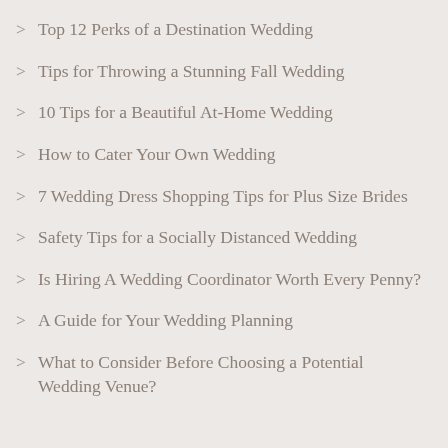> Top 12 Perks of a Destination Wedding
> Tips for Throwing a Stunning Fall Wedding
> 10 Tips for a Beautiful At-Home Wedding
> How to Cater Your Own Wedding
> 7 Wedding Dress Shopping Tips for Plus Size Brides
> Safety Tips for a Socially Distanced Wedding
> Is Hiring A Wedding Coordinator Worth Every Penny?
> A Guide for Your Wedding Planning
> What to Consider Before Choosing a Potential Wedding Venue?